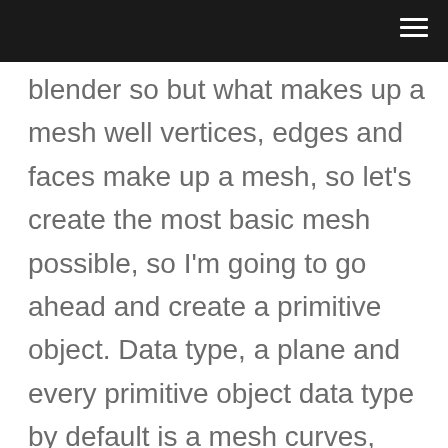blender so but what makes up a mesh well vertices, edges and faces make up a mesh, so let’s create the most basic mesh possible, so I’m going to go ahead and create a primitive object. Data type, a plane and every primitive object data type by default is a mesh curves, metaballs and lamps and cameras are not meshes, however, curves, metaboles and text can be converted into a 3d mesh, which is commonly done by a lot